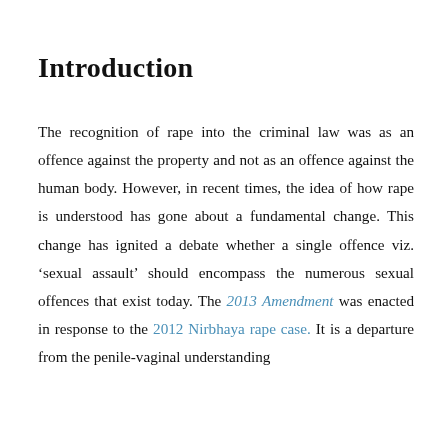Introduction
The recognition of rape into the criminal law was as an offence against the property and not as an offence against the human body. However, in recent times, the idea of how rape is understood has gone about a fundamental change. This change has ignited a debate whether a single offence viz. ‘sexual assault’ should encompass the numerous sexual offences that exist today. The 2013 Amendment was enacted in response to the 2012 Nirbhaya rape case. It is a departure from the penile-vaginal understanding